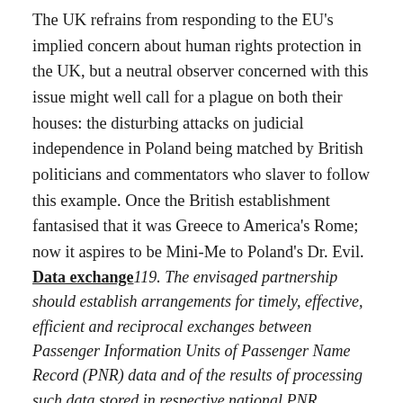The UK refrains from responding to the EU's implied concern about human rights protection in the UK, but a neutral observer concerned with this issue might well call for a plague on both their houses: the disturbing attacks on judicial independence in Poland being matched by British politicians and commentators who slaver to follow this example. Once the British establishment fantasised that it was Greece to America's Rome; now it aspires to be Mini-Me to Poland's Dr. Evil.
Data exchange 119. The envisaged partnership should establish arrangements for timely, effective, efficient and reciprocal exchanges between Passenger Information Units of Passenger Name Record (PNR) data and of the results of processing such data stored in respective national PNR processing systems. It should also provide a basis for transfers of PNR data by air carriers to the United Kingdom for the flights between the